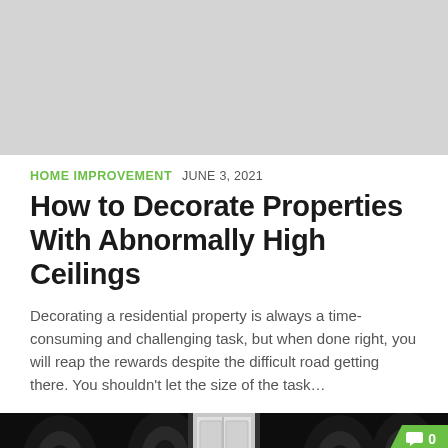[Figure (photo): Grey placeholder image at top of page]
HOME IMPROVEMENT  JUNE 3, 2021
How to Decorate Properties With Abnormally High Ceilings
Decorating a residential property is always a time-consuming and challenging task, but when done right, you will reap the rewards despite the difficult road getting there. You shouldn't let the size of the task...
[Figure (photo): Dark ornate wallpaper with baroque pattern, white door in center, comment badge showing 0 in green]